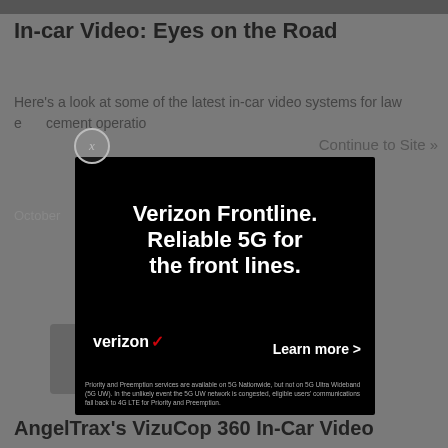In-car Video: Eyes on the Road
Here's a look at some of the latest in-car video systems for law enforcement operations
Continue to Site »
October
[Figure (screenshot): Verizon Frontline advertisement overlay on a darkened webpage. Black background with white bold text reading 'Verizon Frontline. Reliable 5G for the front lines.' Verizon logo with red checkmark at bottom left, 'Learn more >' at bottom right, and small disclaimer text at very bottom.]
AngelTrax's VizuCop 360 In-Car Video